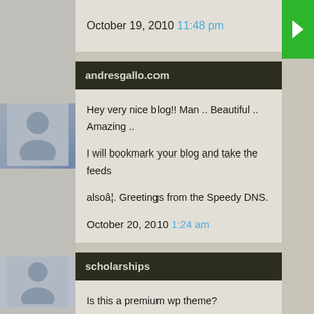October 19, 2010 11:48 pm
andresgallo.com
Hey very nice blog!! Man .. Beautiful .. Amazing ..

I will bookmark your blog and take the feeds

alsoâ¦. Greetings from the Speedy DNS.

October 20, 2010 1:24 am
scholarships
Is this a premium wp theme?

November 5, 2010 7:50 am